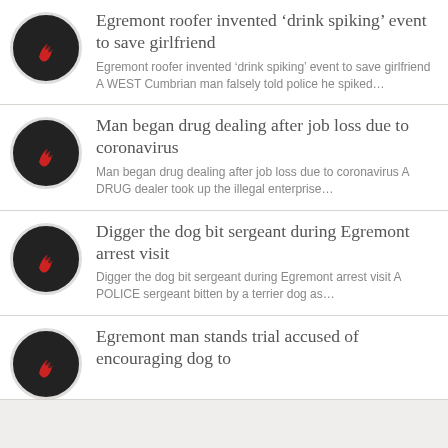Egremont roofer invented ‘drink spiking’ event to save girlfriend
Egremont roofer invented ‘drink spiking’ event to save girlfriend A WEST Cumbrian man falsely told police he spiked…
Man began drug dealing after job loss due to coronavirus
Man began drug dealing after job loss due to coronavirus A DRUG dealer took up the illegal enterprise…
Digger the dog bit sergeant during Egremont arrest visit
Digger the dog bit sergeant during Egremont arrest visit A POLICE sergeant bitten by a terrier dog as…
Egremont man stands trial accused of encouraging dog to…